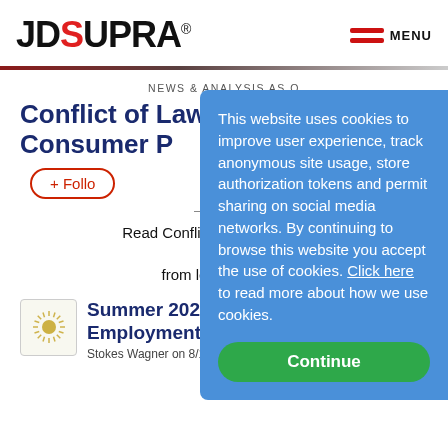JD SUPRA
NEWS & ANALYSIS AS OF
Conflict of Laws Consumer P
+ Follow
Read Conflict of Laws updates analysis from leading lawye
[Figure (logo): Sun/starburst logo icon thumbnail]
Summer 2022 G Employment Law
Stokes Wagner on 8/19/2022
This website uses cookies to improve user experience, track anonymous site usage, store authorization tokens and permit sharing on social media networks. By continuing to browse this website you accept the use of cookies. Click here to read more about how we use cookies.
Continue